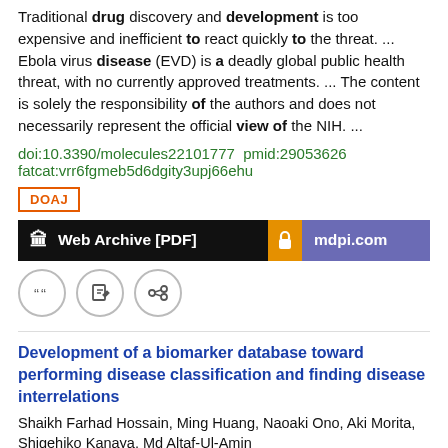Traditional drug discovery and development is too expensive and inefficient to react quickly to the threat. ... Ebola virus disease (EVD) is a deadly global public health threat, with no currently approved treatments. ... The content is solely the responsibility of the authors and does not necessarily represent the official view of the NIH. ...
doi:10.3390/molecules22101777  pmid:29053626
fatcat:vrr6fgmeb5d6dgity3upj66ehu
DOAJ
Web Archive [PDF]
mdpi.com
Development of a biomarker database toward performing disease classification and finding disease interrelations
Shaikh Farhad Hossain, Ming Huang, Naoaki Ono, Aki Morita, Shigehiko Kanaya, Md Altaf-Ul-Amin
2021 Database: The Journal of Biological Databases and Curation
To fulfill this purpose, we have developed a human biomarker database as part of the KNApSAcK family databases which contain